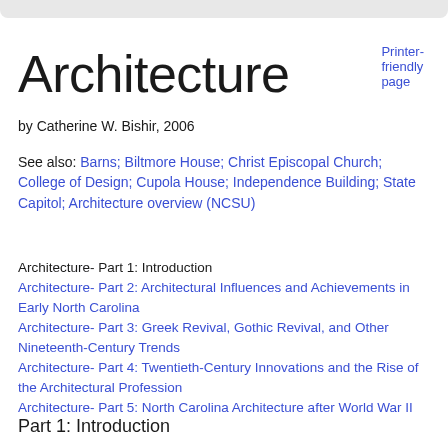Printer-friendly page
Architecture
by Catherine W. Bishir, 2006
See also: Barns; Biltmore House; Christ Episcopal Church; College of Design; Cupola House; Independence Building; State Capitol; Architecture overview (NCSU)
Architecture- Part 1: Introduction
Architecture- Part 2: Architectural Influences and Achievements in Early North Carolina
Architecture- Part 3: Greek Revival, Gothic Revival, and Other Nineteenth-Century Trends
Architecture- Part 4: Twentieth-Century Innovations and the Rise of the Architectural Profession
Architecture- Part 5: North Carolina Architecture after World War II
Part 1: Introduction